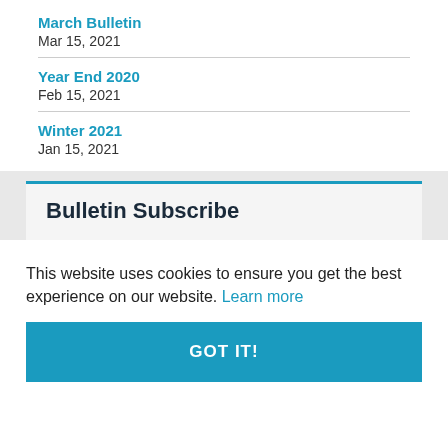March Bulletin
Mar 15, 2021
Year End 2020
Feb 15, 2021
Winter 2021
Jan 15, 2021
Bulletin Subscribe
This website uses cookies to ensure you get the best experience on our website. Learn more
GOT IT!